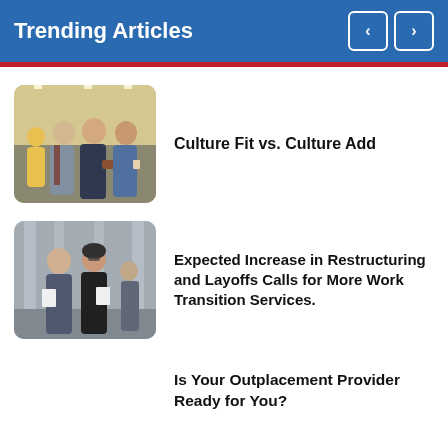Trending Articles
[Figure (photo): Three business professionals walking together in an office hallway]
Culture Fit vs. Culture Add
[Figure (photo): Two business professionals in suits reviewing documents in a modern office corridor]
Expected Increase in Restructuring and Layoffs Calls for More Work Transition Services.
Is Your Outplacement Provider Ready for You?